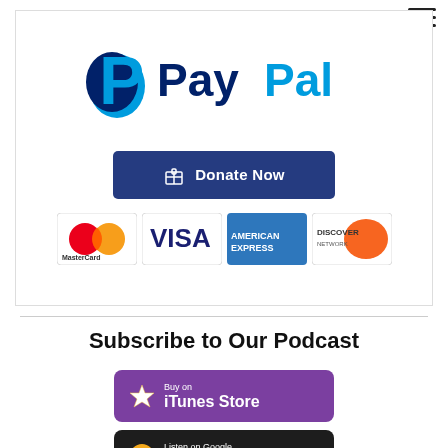[Figure (logo): PayPal Donate Now button with MasterCard, Visa, American Express, and Discover payment method icons]
Subscribe to Our Podcast
[Figure (logo): Buy on iTunes Store button (purple with star icon)]
[Figure (logo): Listen on Google Play Music button (dark with Play Music logo)]